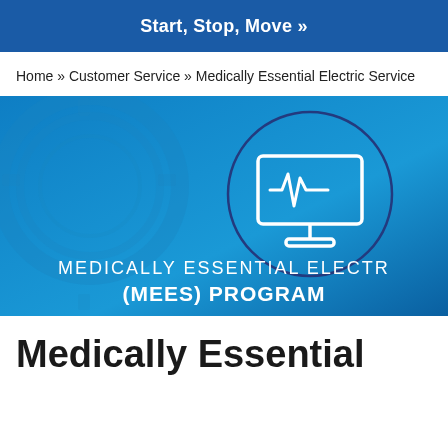Start, Stop, Move »
Home » Customer Service » Medically Essential Electric Service
[Figure (illustration): Hero banner image with blue background showing a medical monitor icon (ECG/heartbeat screen) inside a circle outline, with text 'MEDICALLY ESSENTIAL ELECTR' and '(MEES) PROGRAM' overlaid at the bottom]
Medically Essential